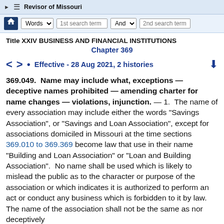▶ ≡ Revisor of Missouri
🏠 Words ▾  1st search term  And ▾  2nd search term
Title XXIV BUSINESS AND FINANCIAL INSTITUTIONS
Chapter 369
< >  •  Effective - 28 Aug 2021, 2 histories  ↓
369.049.  Name may include what, exceptions — deceptive names prohibited — amending charter for name changes — violations, injunction. — 1.  The name of every association may include either the words "Savings Association", or "Savings and Loan Association", except for associations domiciled in Missouri at the time sections 369.010 to 369.369 become law that use in their name "Building and Loan Association" or "Loan and Building Association".  No name shall be used which is likely to mislead the public as to the character or purpose of the association or which indicates it is authorized to perform an act or conduct any business which is forbidden to it by law.  The name of the association shall not be the same as nor deceptively